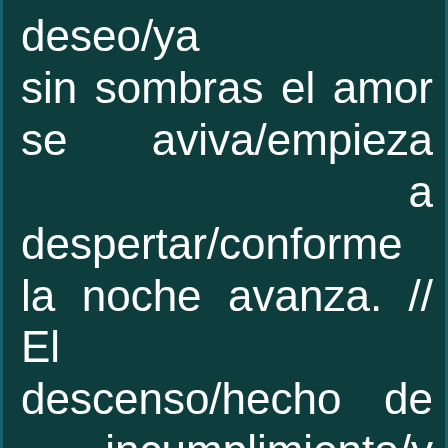deseo/ya sin sombras el amor se aviva/empieza a despertar/conforme la noche avanza. // El descenso/hecho de incumplimiento/y desesperaciones/nos revela un nuevo despertar/el